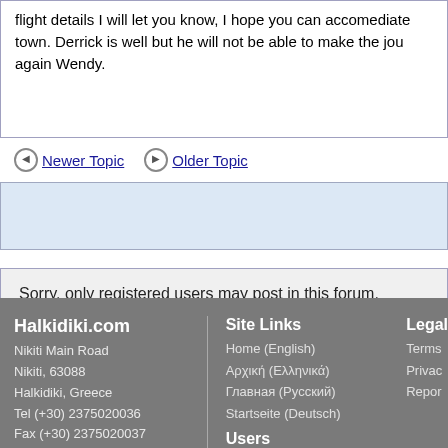flight details I will let you know, I hope you can accomediate town. Derrick is well but he will not be able to make the jour again Wendy.
Newer Topic   Older Topic
Sorry, only registered users may post in this forum.
Click here to login
Halkidiki.com
Nikiti Main Road
Nikiti, 63088
Halkidiki, Greece
Tel (+30) 2375020036
Fax (+30) 2375020037
Site Links
Home (English)
Архική (Ελληνικά)
Главная (Русский)
Startseite (Deutsch)
Users
Legal
Terms
Privac
Repor